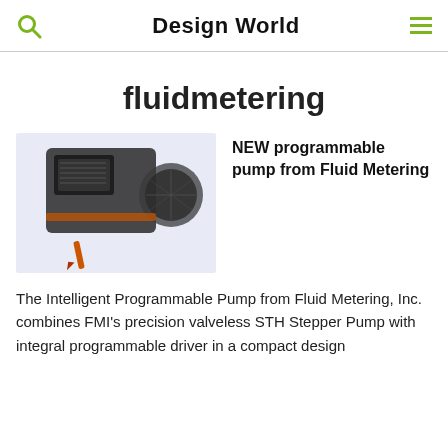Design World
fluidmetering
[Figure (photo): Photo of an intelligent programmable pump device from Fluid Metering Inc., showing a compact black pump mechanism with a round component and a stylus/pen next to it, on a light blue background.]
NEW programmable pump from Fluid Metering
The Intelligent Programmable Pump from Fluid Metering, Inc. combines FMI's precision valveless STH Stepper Pump with integral programmable driver in a compact design